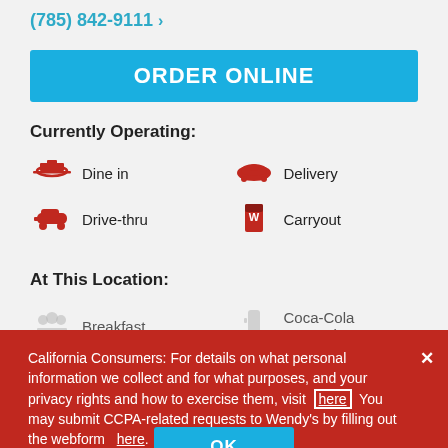(785) 842-9111 >
ORDER ONLINE
Currently Operating:
Dine in
Delivery
Drive-thru
Carryout
At This Location:
Breakfast
Coca-Cola Freestyle
California Consumers: For details on what personal information we collect and for what purposes, and your privacy rights and how to exercise them, visit here You may submit CCPA-related requests to Wendy's by filling out the webform here.
OK